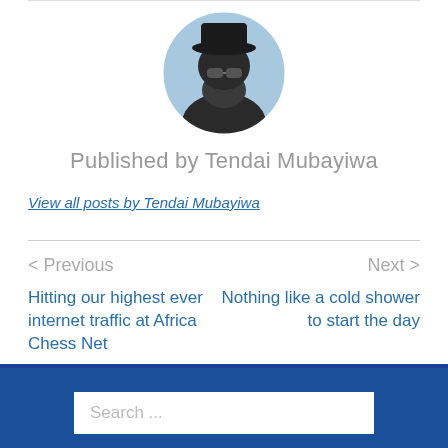[Figure (photo): Circular cropped profile photo of Tendai Mubayiwa wearing sunglasses and a face covering, outdoors with blue sky background.]
Published by Tendai Mubayiwa
View all posts by Tendai Mubayiwa
< Previous
Next >
Hitting our highest ever internet traffic at Africa Chess Net
Nothing like a cold shower to start the day
Search ...